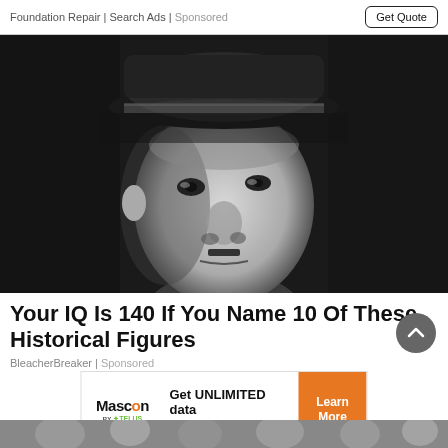Foundation Repair | Search Ads | Sponsored   Get Quote
[Figure (photo): Black and white close-up photograph of a man wearing a military cap, looking upward with a stern expression]
Your IQ Is 140 If You Name 10 Of These Historical Figures
BleacherBreaker | Sponsored
[Figure (infographic): Advertisement banner: Mascon by TELUS - Get UNLIMITED data and save up to $410!* Learn More]
[Figure (photo): Partially visible blurred crowd photo at bottom of page]